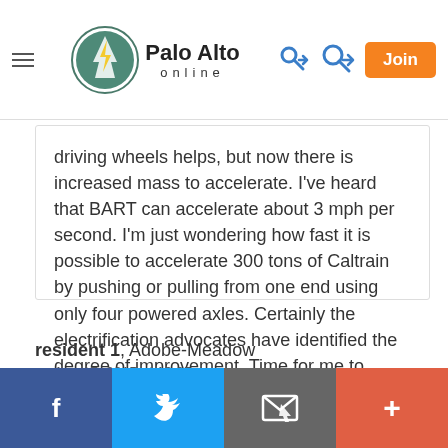Palo Alto online — navigation bar with hamburger menu, login, and Join button
driving wheels helps, but now there is increased mass to accelerate. I've heard that BART can accelerate about 3 mph per second. I'm just wondering how fast it is possible to accelerate 300 tons of Caltrain by pushing or pulling from one end using only four powered axles. Certainly the electrification advocates have identified the degree of improvement. Time for me to revisit the HSR Compatibility blog.
Report Objectionable Comment  |  Email Moderator
resident 1, Adobe-Meadow
on Aug 17, 2015 at 10:25 am
[Figure (infographic): Social share bar with Facebook, Twitter, Email, and More (+) buttons]